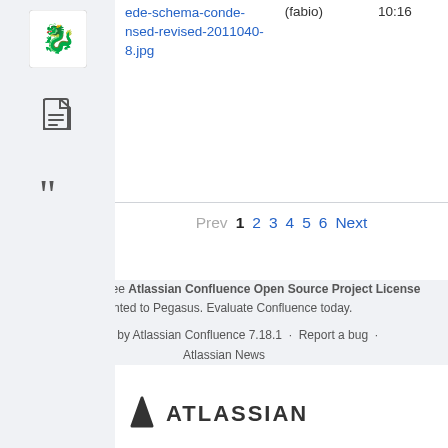ede-schema-condensed-revised-20110408.jpg
(fabio)
10:16
Prev 1 2 3 4 5 6 Next
Powered by a free Atlassian Confluence Open Source Project License granted to Pegasus. Evaluate Confluence today. Powered by Atlassian Confluence 7.18.1 · Report a bug · Atlassian News
[Figure (logo): Atlassian logo with triangle icon and ATLASSIAN wordmark]